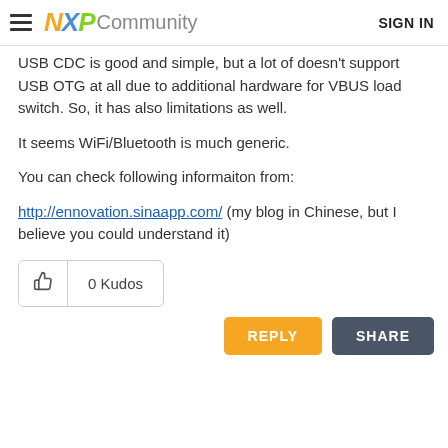NXP Community  SIGN IN
USB CDC is good and simple, but a lot of doesn't support USB OTG at all due to additional hardware for VBUS load switch. So, it has also limitations as well.
It seems WiFi/Bluetooth is much generic.
You can check following informaiton from:
http://ennovation.sinaapp.com/ (my blog in Chinese, but I believe you could understand it)
0 Kudos
REPLY  SHARE